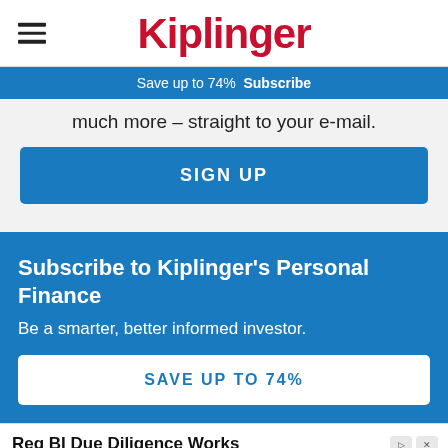Kiplinger
Save up to 74%  Subscribe
much more – straight to your e-mail.
SIGN UP
Subscribe to Kiplinger's Personal Finance
Be a smarter, better informed investor.
SAVE UP TO 74%
Reg BI Due Diligence Works
DDW's Team of Experts built a Technology that solves